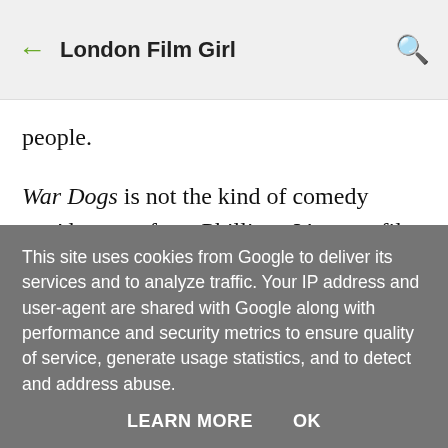← London Film Girl 🔍
people.
War Dogs is not the kind of comedy you'd expect from Phillips.  It's not a film that will make you choke on your pizza, doubled up with laughter, at the insane goings-on on the screen. It definitely starts out in that vein, as you settle into a familiar
This site uses cookies from Google to deliver its services and to analyze traffic. Your IP address and user-agent are shared with Google along with performance and security metrics to ensure quality of service, generate usage statistics, and to detect and address abuse.
LEARN MORE    OK